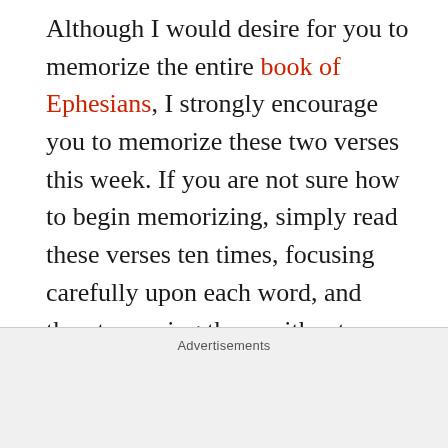Although I would desire for you to memorize the entire book of Ephesians, I strongly encourage you to memorize these two verses this week. If you are not sure how to begin memorizing, simply read these verses ten times, focusing carefully upon each word, and then try saying them without looking ten times. Do this each day, and you will almost certainly have it memorized. But do not just memorize them, meditate over them. Repeat them in your head throughout the day. Ask questions and pray. Paul told the Galatians, “Let the one who is taught the word share all good things with the one who teaches” (6:6), so share with me the morals of
Advertisements